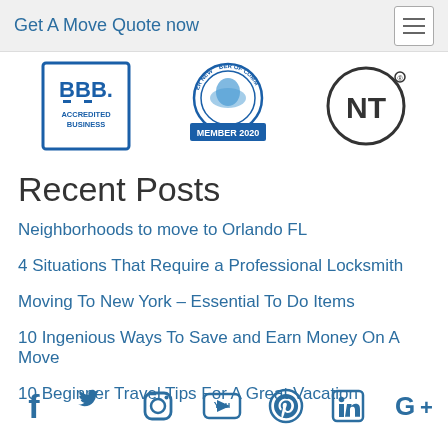Get A Move Quote now
[Figure (logo): BBB Accredited Business logo, Chamber of Commerce Member 2020 logo, and NT logo]
Recent Posts
Neighborhoods to move to Orlando FL
4 Situations That Require a Professional Locksmith
Moving To New York – Essential To Do Items
10 Ingenious Ways To Save and Earn Money On A Move
10 Beginner Travel Tips For A Great Vacation
[Figure (infographic): Social media icons row: Facebook, Twitter, Instagram, YouTube, Pinterest, LinkedIn, Google+]